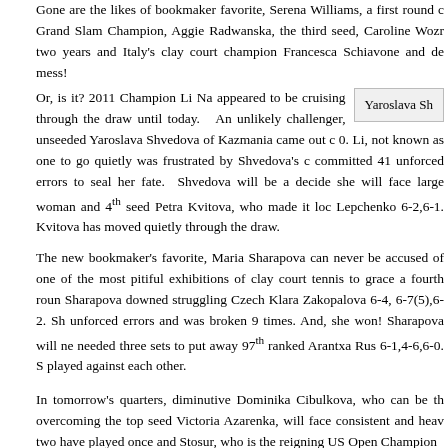Gone are the likes of bookmaker favorite, Serena Williams, a first round Grand Slam Champion, Aggie Radwanska, the third seed, Caroline Wozr two years and Italy's clay court champion Francesca Schiavone and de mess!
Or, is it? 2011 Champion Li Na appeared to be cruising through the draw until today. An unlikely challenger, unseeded Yaroslava Shvedova of Kazmania came out 0. Li, not known as one to go quietly was frustrated by Shvedova's committed 41 unforced errors to seal her fate. Shvedova will be a decide she will face large woman and 4th seed Petra Kvitova, who made it Lepchenko 6-2,6-1. Kvitova has moved quietly through the draw.
The new bookmaker's favorite, Maria Sharapova can never be accused of one of the most pitiful exhibitions of clay court tennis to grace a fourth rou Sharapova downed struggling Czech Klara Zakopalova 6-4, 6-7(5),6-2. unforced errors and was broken 9 times. And, she won! Sharapova will ne needed three sets to put away 97th ranked Arantxa Rus 6-1,4-6,6-0. played against each other.
In tomorrow's quarters, diminutive Dominika Cibulkova, who can be overcoming the top seed Victoria Azarenka, will face consistent and hea two have played once and Stosur, who is the reigning US Open Champion